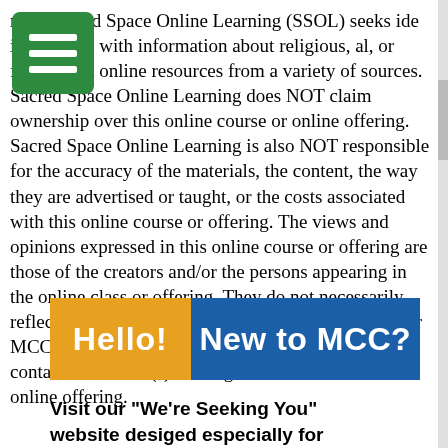mer: Sacred Space Online Learning (SSOL) seeks ide individuals with information about religious, al, or faith-based online resources from a variety of sources. Sacred Space Online Learning does NOT claim ownership over this online course or online offering. Sacred Space Online Learning is also NOT responsible for the accuracy of the materials, the content, the way they are advertised or taught, or the costs associated with this online course or offering. The views and opinions expressed in this online course or offering are those of the creators and/or the persons appearing in the online class or offering. They do not necessarily reflect the views and opinions of SSOL, the OFLD, or MCC. If you have any questions or concerns please contact the creator(s) of the given online course or online offering.
[Figure (other): Banner image with two colored sections: orange section on left reading 'Hello!' in bold white text, and blue section on right reading 'New to MCC?' in bold white text.]
Visit our "We're Seeking You" website desiged especially for our visitors and guests!